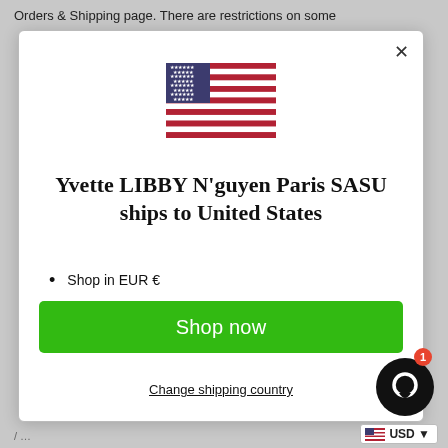Orders & Shipping page. There are restrictions on some
[Figure (illustration): US flag icon — red and white stripes with blue canton and white stars]
Yvette LIBBY N'guyen Paris SASU ships to United States
Shop in EUR €
Get shipping options for United States
Shop now
Change shipping country
USD